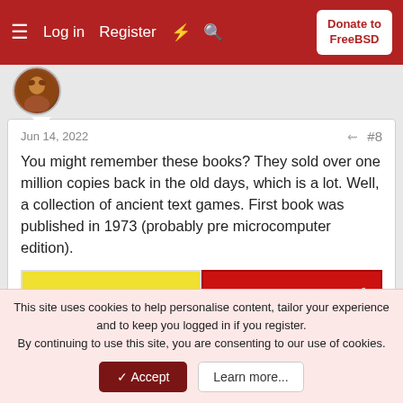Log in  Register  Donate to FreeBSD
Jun 14, 2022  #8
You might remember these books? They sold over one million copies back in the old days, which is a lot. Well, a collection of ancient text games. First book was published in 1973 (probably pre microcomputer edition).
[Figure (photo): Book covers for BASIC Computer Games and More BASIC Computer Games side by side]
This site uses cookies to help personalise content, tailor your experience and to keep you logged in if you register.
By continuing to use this site, you are consenting to our use of cookies.